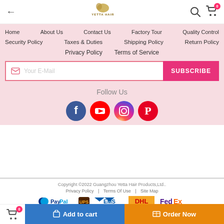[Figure (screenshot): Website header with back arrow, Yetta Hair logo, search icon, and cart icon with badge 0]
Home   About Us   Contact Us   Factory Tour   Quality Control
Security Policy   Taxes & Duties   Shipping Policy   Return Policy
Privacy Policy   Terms of Service
Your E-Mail
SUBSCRIBE
Follow Us
[Figure (infographic): Social media icons: Facebook, YouTube, Instagram, Pinterest]
Copyright ©2022 Guangzhou Yetta Hair Products,Ltd..
Privacy Policy | Terms Of Use | Site Map
[Figure (infographic): Payment logos: PayPal, UPS, EMS, DHL, FedEx]
Add to cart
Order Now